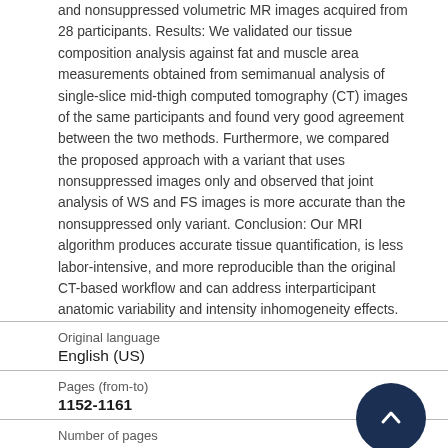and nonsuppressed volumetric MR images acquired from 28 participants. Results: We validated our tissue composition analysis against fat and muscle area measurements obtained from semimanual analysis of single-slice mid-thigh computed tomography (CT) images of the same participants and found very good agreement between the two methods. Furthermore, we compared the proposed approach with a variant that uses nonsuppressed images only and observed that joint analysis of WS and FS images is more accurate than the nonsuppressed only variant. Conclusion: Our MRI algorithm produces accurate tissue quantification, is less labor-intensive, and more reproducible than the original CT-based workflow and can address interparticipant anatomic variability and intensity inhomogeneity effects.
| Field | Value |
| --- | --- |
| Original language | English (US) |
| Pages (from-to) | 1152-1161 |
| Number of pages |  |